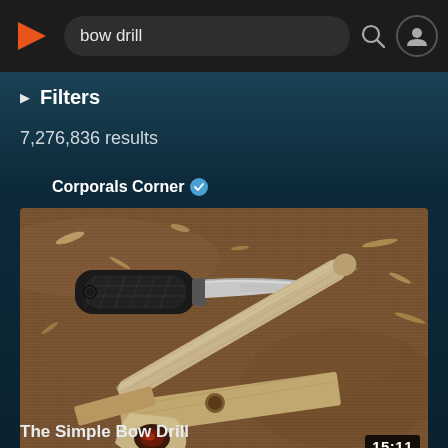[Figure (screenshot): Search bar at top with play/logo icon on left, search field showing 'bow drill', search icon, and profile icon on right. Dark background.]
▶ Filters
7,276,836 results
Corporals Corner ✔
[Figure (photo): Thumbnail image of bow drill fire-starting kit: a knife with black handle, wooden spindle stick, wooden fireboard, and char cloth on a brown fibrous mat surface. Duration badge shows 15:11.]
The Simple Bow Drill